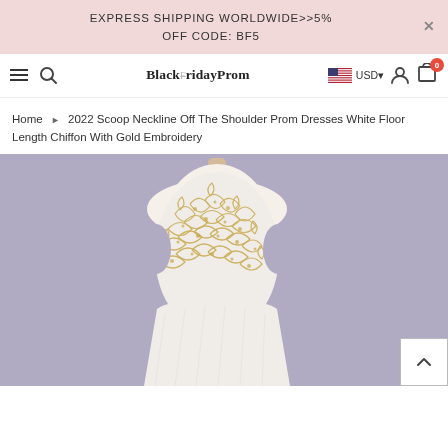EXPRESS SHIPPING WORLDWIDE>>5% OFF CODE: BF5
[Figure (screenshot): Website navigation bar with hamburger menu, search icon, BlackFridayProm logo, US flag, USD currency selector, user icon, and cart icon with badge showing 0]
Home ▶ 2022 Scoop Neckline Off The Shoulder Prom Dresses White Floor Length Chiffon With Gold Embroidery
[Figure (photo): A white prom dress with gold embroidery displayed on a mannequin against a lavender/grey background. The dress features a scoop neckline, off-the-shoulder style with intricate gold leaf/floral embroidery on the bodice.]